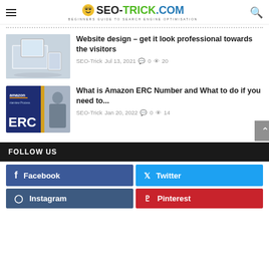SEO-TRICK.COM — BEGINNERS GUIDE TO SEARCH ENGINE OPTIMISATION
[Figure (screenshot): Website design article thumbnail showing tablet and phone devices on desk]
Website design – get it look professional towards the visitors
SEO-Trick  Jul 13, 2021  0  20
[Figure (screenshot): Amazon ERC Number article thumbnail with dark blue background and person at desk]
What is Amazon ERC Number and What to do if you need to...
SEO-Trick  Jan 20, 2022  0  14
FOLLOW US
Facebook
Twitter
Instagram
Pinterest